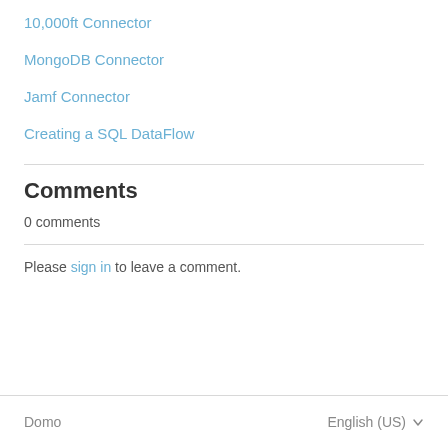10,000ft Connector
MongoDB Connector
Jamf Connector
Creating a SQL DataFlow
Comments
0 comments
Please sign in to leave a comment.
Domo    English (US)